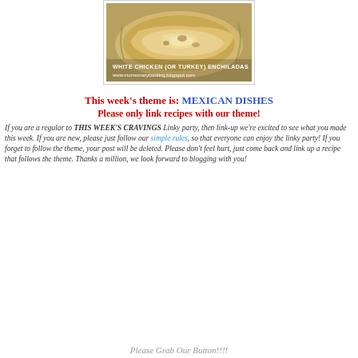[Figure (photo): Photo of white chicken enchiladas on a plate with melted cheese, with text overlay 'WHITE CHICKEN (or Turkey) ENCHILADAS' and 'www.momscrazycooking.blogspot.com']
This week's theme is: MEXICAN DISHES
Please only link recipes with our theme!
If you are a regular to THIS WEEK'S CRAVINGS Linky party, then link-up we're excited to see what you made this week. If you are new, please just follow our simple rules, so that everyone can enjoy the linky party! If you forget to follow the theme, your post will be deleted. Please don't feel hurt, just come back and link up a recipe that follows the theme. Thanks a million, we look forward to blogging with you!
Please Grab Our Button!!!!